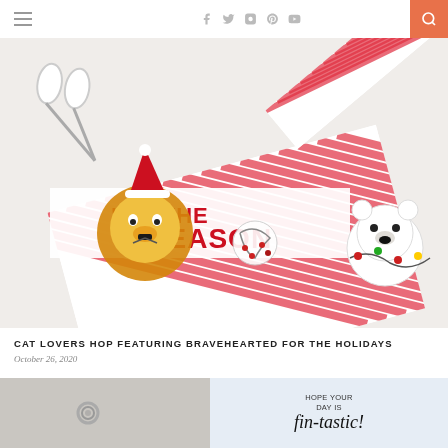Navigation header with hamburger menu, social icons (facebook, twitter, instagram, pinterest, youtube), and search button
[Figure (photo): Close-up photo of handmade holiday greeting cards featuring cartoon lion and polar bear characters with red and white striped candy-cane pattern background, text reading 'TIS THE SEASON', white scissors visible in upper left corner]
CAT LOVERS HOP FEATURING BRAVEHEARTED FOR THE HOLIDAYS
October 26, 2020
[Figure (photo): Bottom strip showing two partial images: left is a gray textured card with a small ring/eyelet, right shows a light blue card with text 'HOPE YOUR DAY IS fin-tastic!']